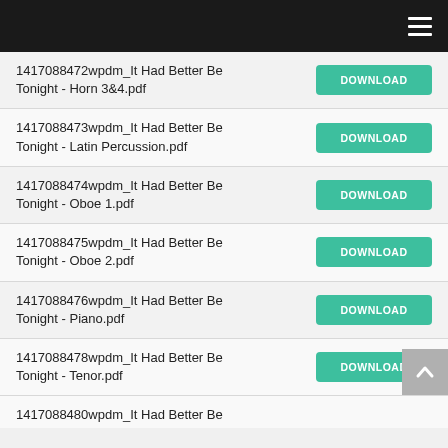1417088472wpdm_It Had Better Be Tonight - Horn 3&4.pdf
1417088473wpdm_It Had Better Be Tonight - Latin Percussion.pdf
1417088474wpdm_It Had Better Be Tonight - Oboe 1.pdf
1417088475wpdm_It Had Better Be Tonight - Oboe 2.pdf
1417088476wpdm_It Had Better Be Tonight - Piano.pdf
1417088478wpdm_It Had Better Be Tonight - Tenor.pdf
1417088480wpdm_It Had Better Be